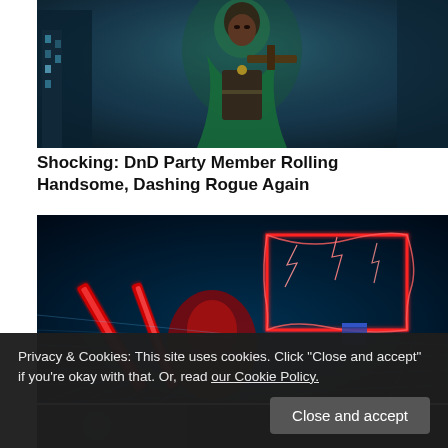[Figure (illustration): Fantasy illustration of a hooded rogue character wearing a green cloak, holding a crossbow, with a dark urban background]
Shocking: DnD Party Member Rolling Handsome, Dashing Rogue Again
[Figure (screenshot): Screenshot from a VR rhythm game showing red neon lightsabers and glowing red rectangular obstacles in a dark neon-lit environment]
[Figure (illustration): Partial view of another article image at the bottom]
Privacy & Cookies: This site uses cookies. Click "Close and accept" if you're okay with that. Or, read our Cookie Policy.